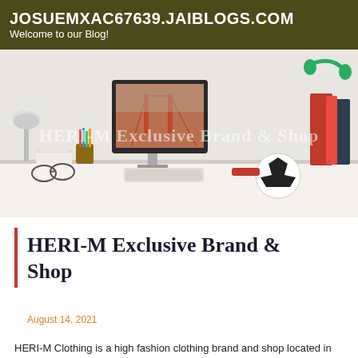JOSUEMXAC67639.JAIBLOGS.COM
Welcome to our Blog!
[Figure (photo): Hero image of a modern desk/office workspace with a desktop computer showing a bridge photo, pencils, a soccer ball, red binders, and green headphones. Overlaid watermark text reads 'HERI-M Exclusive Brand & Shop'.]
HERI-M Exclusive Brand & Shop
August 14, 2021
HERI-M Clothing is a high fashion clothing brand and shop located in Gothenburg, Sweden. It was founded in 1992 by Mats Bjellerup and kept as a family business throughout the years. The name of the company was changed to 'HERI' in order to emphasize the importa...